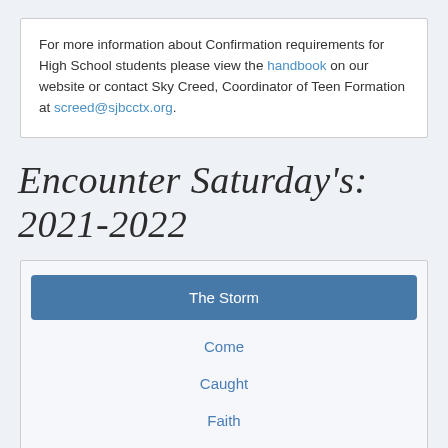For more information about Confirmation requirements for High School students please view the handbook on our website or contact Sky Creed, Coordinator of Teen Formation at screed@sjbcctx.org.
Encounter Saturday's: 2021-2022
The Storm
Come
Caught
Faith
Humble